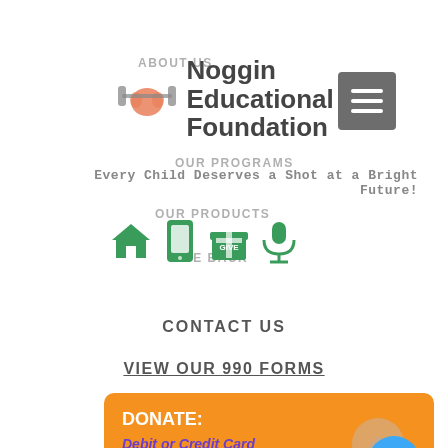[Figure (logo): Noggin Educational Foundation logo with brain lifting weights icon]
ABOUT US
OUR PROGRAMS
OUR PRODUCTS
GIVE BACK
[Figure (illustration): Navigation icons: home, mobile, gift/give, microphone]
Every Child Deserves a Shot at a Bright Future!
CONTACT US
VIEW OUR 990 FORMS
DONATE: Debit or Credit Card Venmo: @NogginFoundation Cash App: $NogginFoundation PayPal